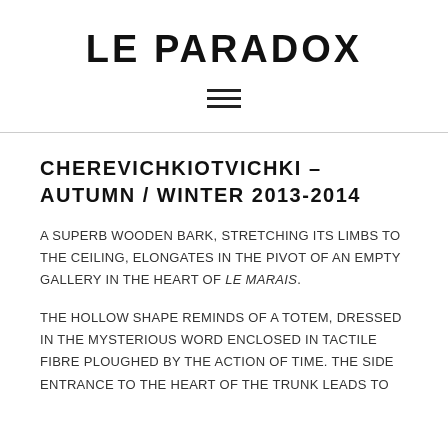LE PARADOX
CHEREVICHKIOTVICHKI – AUTUMN / WINTER 2013-2014
A SUPERB WOODEN BARK, STRETCHING ITS LIMBS TO THE CEILING, ELONGATES IN THE PIVOT OF AN EMPTY GALLERY IN THE HEART OF LE MARAIS.
THE HOLLOW SHAPE REMINDS OF A TOTEM, DRESSED IN THE MYSTERIOUS WORD ENCLOSED IN TACTILE FIBRE PLOUGHED BY THE ACTION OF TIME. THE SIDE ENTRANCE TO THE HEART OF THE TRUNK LEADS TO